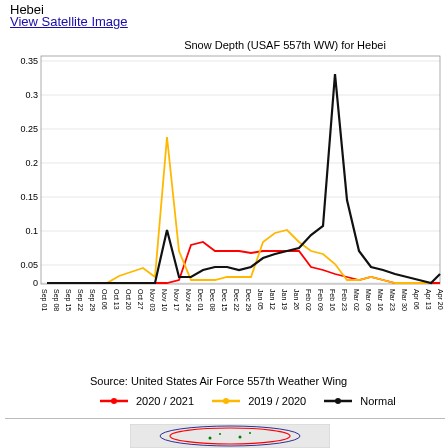Hebei
View Satellite Image
[Figure (line-chart): Snow Depth (USAF 557th WW) for Hebei]
Source: United States Air Force 557th Weather Wing
[Figure (map): Satellite/map image of Hebei region showing geographic boundaries]